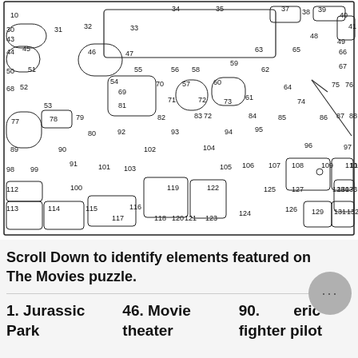[Figure (other): A complex numbered puzzle map with irregularly shaped numbered regions (pieces 1 through 133+), outlined in black on white background, resembling a jigsaw puzzle layout of a movie-themed puzzle.]
Scroll Down to identify elements featured on The Movies puzzle.
1. Jurassic Park
46. Movie theater
90. American fighter pilot